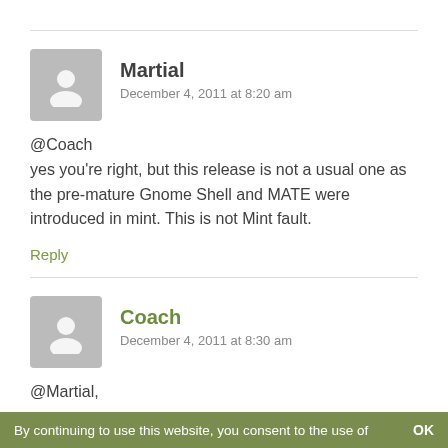@Coach
yes you're right, but this release is not a usual one as the pre-mature Gnome Shell and MATE were introduced in mint. This is not Mint fault.
Reply
@Martial,
By continuing to use this website, you consent to the use of   OK